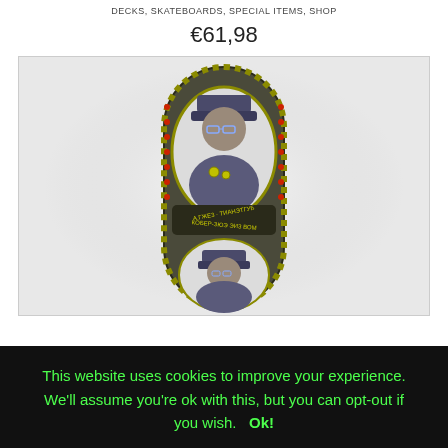DECKS, SKATEBOARDS, SPECIAL ITEMS, SHOP
€61,98
[Figure (photo): A decorated matryoshka (Russian nesting doll) in the shape of a skateboard deck, featuring a portrait of a military officer in uniform with medals and a cap, surrounded by ornate patterns. Cyrillic text appears in a curved banner beneath the portrait. A second smaller portrait is visible at the bottom.]
This website uses cookies to improve your experience. We'll assume you're ok with this, but you can opt-out if you wish.  Ok!